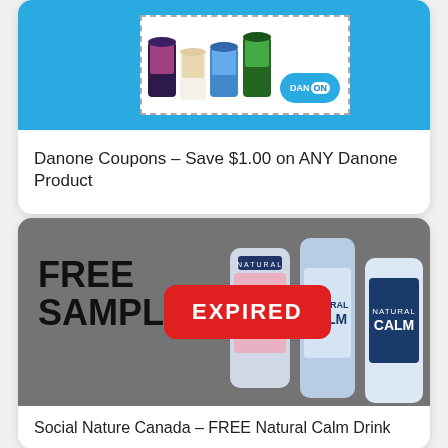[Figure (photo): Danone coupon image showing Danone yogurt products with a DanOn logo badge on a blue background, inside a dashed coupon border]
Danone Coupons – Save $1.00 on ANY Danone Product
[Figure (photo): Natural Calm drink powder product free sample promotional image with grey overlay and red EXPIRED badge overlay]
Social Nature Canada – FREE Natural Calm Drink